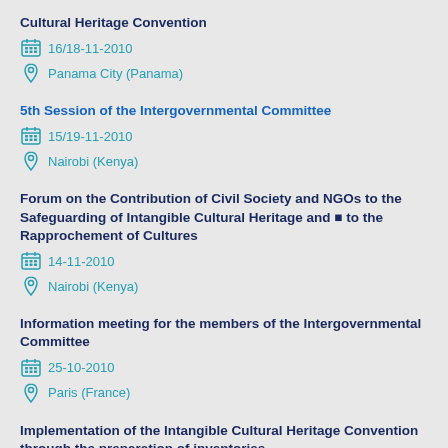Cultural Heritage Convention
16/18-11-2010
Panama City (Panama)
5th Session of the Intergovernmental Committee
15/19-11-2010
Nairobi (Kenya)
Forum on the Contribution of Civil Society and NGOs to the Safeguarding of Intangible Cultural Heritage and to the Rapprochement of Cultures
14-11-2010
Nairobi (Kenya)
Information meeting for the members of the Intergovernmental Committee
25-10-2010
Paris (France)
Implementation of the Intangible Cultural Heritage Convention through the preparation of inventories
20/23-09-2010